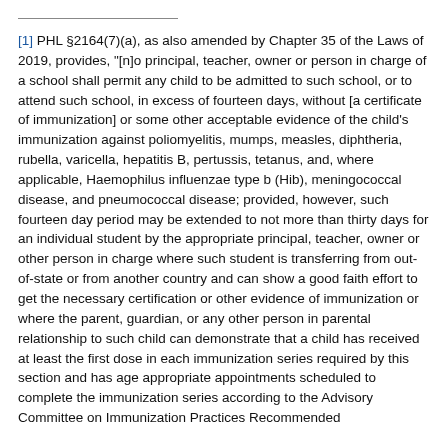[1] PHL §2164(7)(a), as also amended by Chapter 35 of the Laws of 2019, provides, "[n]o principal, teacher, owner or person in charge of a school shall permit any child to be admitted to such school, or to attend such school, in excess of fourteen days, without [a certificate of immunization] or some other acceptable evidence of the child's immunization against poliomyelitis, mumps, measles, diphtheria, rubella, varicella, hepatitis B, pertussis, tetanus, and, where applicable, Haemophilus influenzae type b (Hib), meningococcal disease, and pneumococcal disease; provided, however, such fourteen day period may be extended to not more than thirty days for an individual student by the appropriate principal, teacher, owner or other person in charge where such student is transferring from out-of-state or from another country and can show a good faith effort to get the necessary certification or other evidence of immunization or where the parent, guardian, or any other person in parental relationship to such child can demonstrate that a child has received at least the first dose in each immunization series required by this section and has age appropriate appointments scheduled to complete the immunization series according to the Advisory Committee on Immunization Practices Recommended